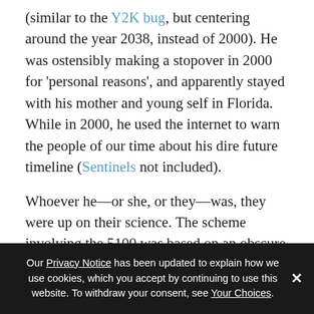(similar to the Y2K bug, but centering around the year 2038, instead of 2000). He was ostensibly making a stopover in 2000 for 'personal reasons', and apparently stayed with his mother and young self in Florida. While in 2000, he used the internet to warn the people of our time about his dire future timeline (Sentinels not included).
Whoever he—or she, or they—was, they were up on their science. The scheme involving the 5100 was based on an obscure feature particular to that IBM model. He also spoke of what could be interpreted as the Large Hadron Collider at CERN, which he alleged would yield the secrets to time travel when it went
Our Privacy Notice has been updated to explain how we use cookies, which you accept by continuing to use this website. To withdraw your consent, see Your Choices.